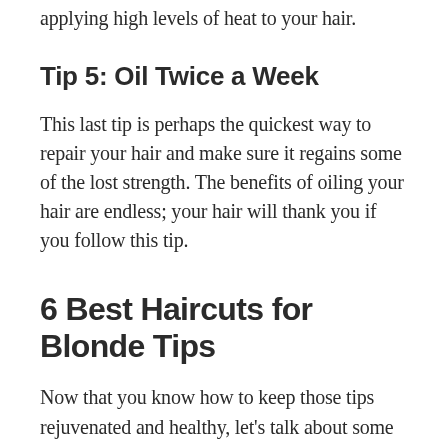applying high levels of heat to your hair.
Tip 5: Oil Twice a Week
This last tip is perhaps the quickest way to repair your hair and make sure it regains some of the lost strength. The benefits of oiling your hair are endless; your hair will thank you if you follow this tip.
6 Best Haircuts for Blonde Tips
Now that you know how to keep those tips rejuvenated and healthy, let's talk about some hair cuts that look excellent with your new colors.